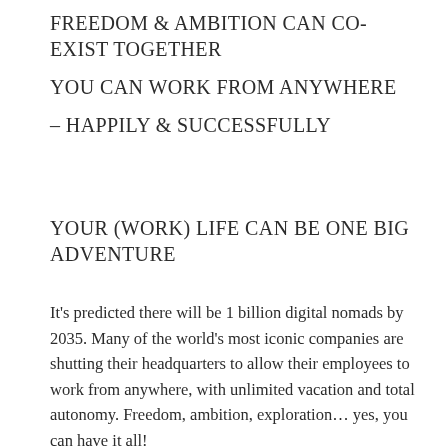FREEDOM & AMBITION CAN CO-EXIST TOGETHER
YOU CAN WORK FROM ANYWHERE
– HAPPILY & SUCCESSFULLY
YOUR (WORK) LIFE CAN BE ONE BIG ADVENTURE
It's predicted there will be 1 billion digital nomads by 2035. Many of the world's most iconic companies are shutting their headquarters to allow their employees to work from anywhere, with unlimited vacation and total autonomy. Freedom, ambition, exploration… yes, you can have it all!